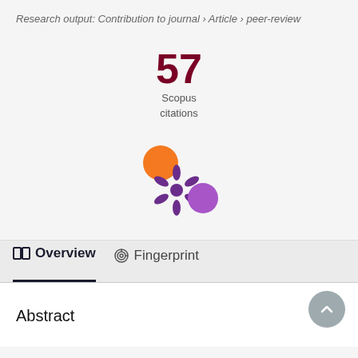Research output: Contribution to journal › Article › peer-review
57
Scopus
citations
[Figure (logo): Altmetric/PlumX style logo with orange circle, purple asterisk shape, and purple circle]
Overview
Fingerprint
Abstract